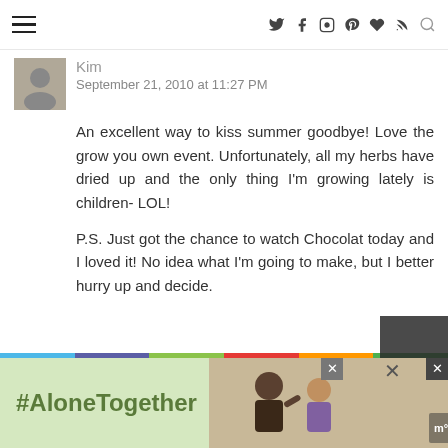Navigation header with hamburger menu and social icons: Twitter, Facebook, Instagram, Pinterest, heart, RSS, search
Kim
September 21, 2010 at 11:27 PM
An excellent way to kiss summer goodbye! Love the grow you own event. Unfortunately, all my herbs have dried up and the only thing I'm growing lately is children- LOL!

P.S. Just got the chance to watch Chocolat today and I loved it! No idea what I'm going to make, but I better hurry up and decide.
Reply
a moderate life
September 22, 2010 at 1:57 AM
[Figure (photo): Advertisement banner with #AloneTogether hashtag and a photo of people]
[Figure (photo): Small avatar photo of commenter Kim]
[Figure (photo): Small avatar photo of a moderate life commenter]